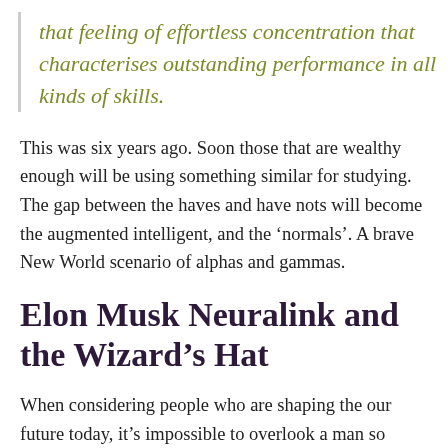that feeling of effortless concentration that characterises outstanding performance in all kinds of skills.
This was six years ago. Soon those that are wealthy enough will be using something similar for studying. The gap between the haves and have nots will become the augmented intelligent, and the ‘normals’. A brave New World scenario of alphas and gammas.
Elon Musk Neuralink and the Wizard’s Hat
When considering people who are shaping the our future today, it’s impossible to overlook a man so futuristic he was named